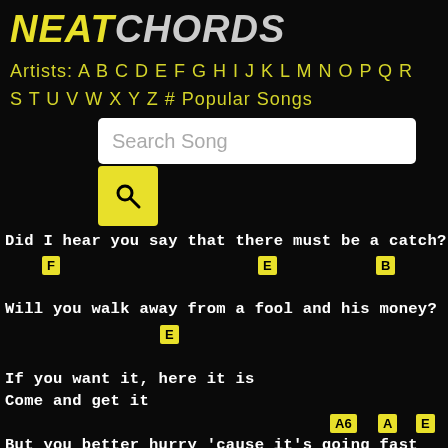NEATCHORDS
Artists: A B C D E F G H I J K L M N O P Q R S T U V W X Y Z # Popular Songs
[Figure (screenshot): Search Song input box with yellow search button]
Did I hear you say that there must be a catch?
F   E   B
Will you walk away from a fool and his money?
E
If you want it, here it is
Come and get it
A6   A   E
But you better hurry 'cause it's going fast
E